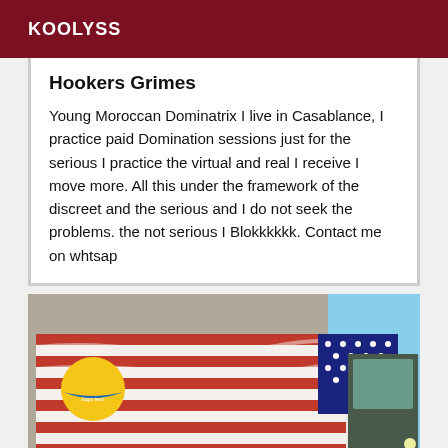KOOLYSS
Hookers Grimes
Young Moroccan Dominatrix I live in Casablance, I practice paid Domination sessions just for the serious I practice the virtual and real I receive I move more. All this under the framework of the discreet and the serious and I do not seek the problems. the not serious I Blokkkkkk. Contact me on whtsap
[Figure (photo): A delivery truck with a large American flag wrap graphic on its side, showing red and white stripes and blue star field. A circular yellow logo with blue banner is visible on the left side of the truck.]